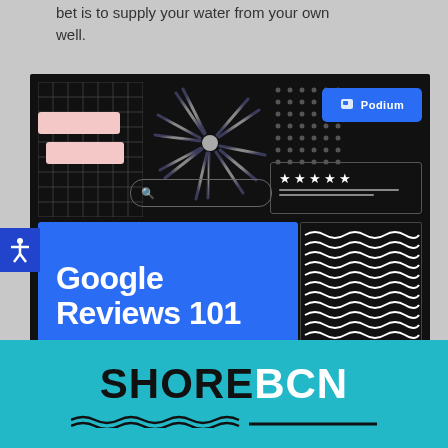bet is to supply your water from your own well.
[Figure (infographic): Podium Google Reviews 101 promotional banner on dark background with grid patterns, starburst, dot grid, Podium logo badge, star rating box, search bar, blue Google Reviews 101 box, and wavy lines decoration]
[Figure (logo): ShoreBCN logo on teal/cyan background with wavy underline and straight underline]